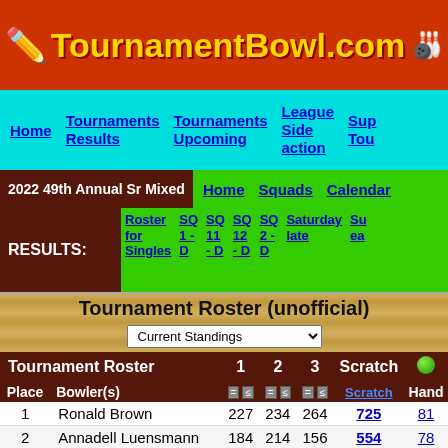TournamentBowl.com
Home | Tournaments Results | Tournaments Upcoming | League Side action | Sup Tou
2022 49th Annual Sr Mixed | Home | Squads | Calendar
RESULTS: Roster for Singles | SQ 1 - D | SQ 11 - D | SQ 12 - D | SQ 2 - D | Saturday late | Su ea
Tournament Roster (unofficial)
| Place | Bowler(s) | 1 | 2 | 3 | Scratch | Hand |
| --- | --- | --- | --- | --- | --- | --- |
| 1 | Ronald Brown | 227 | 234 | 264 | 725 | 81 |
| 2 | Annadell Luensmann | 184 | 214 | 156 | 554 | 78 |
| 3 | David Thomas | 173 | 189 | 215 | 577 | 78 |
| 4 | Don Steubing | 189 | 244 | 203 | 636 | 77 |
| 5t | Gene Rivers | 246 | 278 | 238 | 762 | 76 |
| 5t | Gregory Curtis | 250 | 140 | 168 | 558 | 76 |
| 7 | Tony Molina | 236 | 241 | 179 | 656 | 76 |
| 8 | Steven Plain | 229 | 189 | 256 | 664 | 74 |